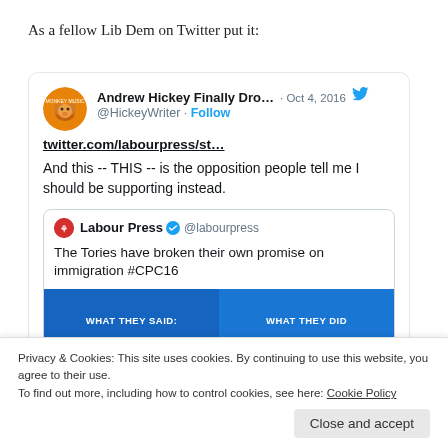As a fellow Lib Dem on Twitter put it:
[Figure (screenshot): Embedded tweet from @HickeyWriter (Andrew Hickey Finally Dro...) dated Oct 4, 2016, with a link to twitter.com/labourpress/st..., body text 'And this -- THIS -- is the opposition people tell me I should be supporting instead.', quoting a tweet from Labour Press @labourpress reading 'The Tories have broken their own promise on immigration #CPC16' with an image showing 'WHAT THEY SAID:' and 'WHAT THEY DID' labels on a blue background.]
Privacy & Cookies: This site uses cookies. By continuing to use this website, you agree to their use.
To find out more, including how to control cookies, see here: Cookie Policy
Close and accept